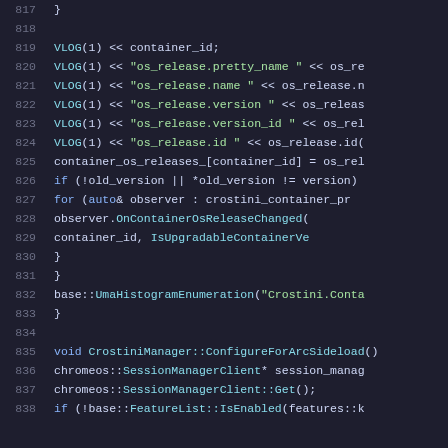[Figure (screenshot): Source code listing showing C++ code lines 817-838, with syntax highlighting. Dark background with colored text. Line numbers in gray on left, code in blue/green/white on right.]